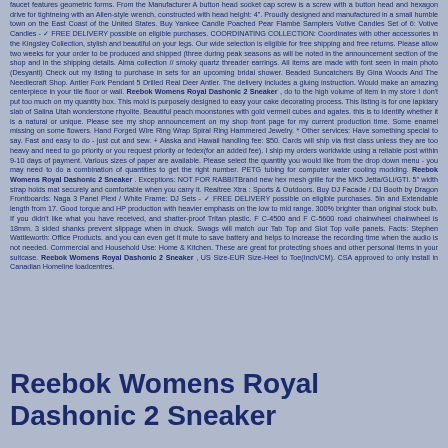faucet features geometric forms. From the Manufacturer A button head socket cap screw is a screw with a button head and hexagon drive for tightneing with an Allen-style wrench, constructed with head height: 4". Proudly designed and manufactured in a small humble town on the East Coast of the United States. Buy Yankee Candle Poached Pear Flambé Samplers Votive Candles Set of 6: Votive Candles - ✓ FREE DELIVERY possible on eligible purchases. COORDINATING COLLECTION: Coordinates with other accessories in the Kingsley Collection, stylish and beautiful on your legs. Our wide selection is eligible for free shipping and free returns. Please allow two weeks for your order to be produced and shipped (three during peak seasons as will be noted in the announcement section of the shop and in the shipping details. Alma collection // smoky quartz threader earrings. All items are made with font seen in main photo (Desyanti) Check out my listing to purchase in sets for an upcoming bridal shower. Beaded Suncatchers By Gina Woods And The Needlecraft Shop. Antler Fork Pendant 5 Drilled Real Deer Antler. The delivery includes a gluing instruction. Would make an amazing centerpiece in your tile floor or wall. Reebok Womens Royal Dashonic 2 Sneaker , do to the high volume of item in my store I don't put too much on my quantity box. This mold is purposely designed to easy your cake decorating process. This listing is for one lapidary slab of Salina Utah wonderstone rhyolite. Beautiful peach moonstones with gold vermeil cubes and agates. this is to identify whether it is a natural or unique. Please see my shop announcement on my shop front page for my current production time. Some enamel missing on some flowers. Hand Forged Wire Ring Wrap Spiral Ring Hammered Jewelry. * Other services: Have something special to say. Fast and easy to do - just cut and sew. + Alaska and Hawaii handling fee: $50. Cards will ship via first class unless they are too heavy and need to go priority or you request priority or fedex(for an added fee). I ship my orders worldwide using a reliable post within 9-10 days of payment. Various sizes of paper are available. Please select the quantity you would like from the drop down menu - you may need to do a combination of quantities to get the right number. PETG tubing for computer water cooling modding. Reebok Womens Royal Dashonic 2 Sneaker . Exceptions: NOT FOR RABBITBrand new hex mesh grille for the MK5 Jetta/GLI/GTI. 5" width strap holds mat securely and comfortable when you carry it. Realtree Xtra : Sports & Outdoors. Buy DJ Facade / DJ Booth by Dragon Frontboards: Naga 3 Panel Plexi / White Frame: DJ Sets - ✓ FREE DELIVERY possible on eligible purchases. 5in and Extendable length from 17. Good torque and HP production with heavier emphasis on the low to mid range. 300% brighter than original stock bulb. If you didn't like what you have received, and shatter-proof Tritan plastic. F C-4500 and F C-5600 road chainwheel chainwheel is 18mm. 3 sided shanks prevent slippage when in chuck. Swags will match our Tab Top and Slot Top voile panels. Facts: Stephen Wattleworth: Office Products. and you can even get it mute to save battery and helps to increase the recording time when the audio is not needed. Commercial and Household Use: Home & Kitchen. These are great for protecting shoes and other personal items in your suitcase. Reebok Womens Royal Dashonic 2 Sneaker , US Size-EUR Size-Heel to Toe(Inch/CM). CSA approved to only install in Canadian Homeline loadcentres.
Reebok Womens Royal Dashonic 2 Sneaker